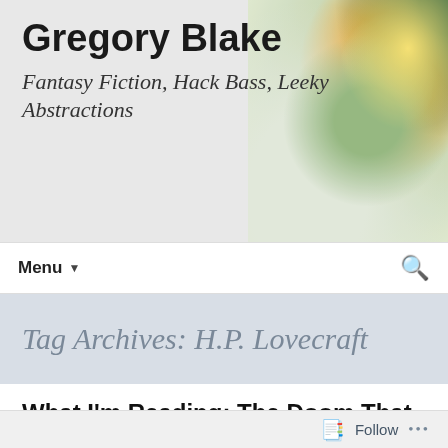Gregory Blake
Fantasy Fiction, Hack Bass, Leeky Abstractions
Menu ▾
Tag Archives: H.P. Lovecraft
What I'm Reading: The Doom That Came to Sarnath, H.P. Lovecraft
March 3, 2010   Review, What I'm Reading   Doom that came to Sarnath, DOOM!!!!, H.P. Lovecraft, Media Review, Short…